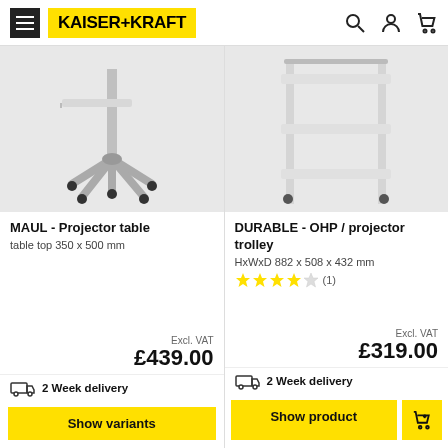KAISER+KRAFT
[Figure (photo): MAUL Projector table product photo showing a wheeled stand with a small shelf on a 5-star castor base]
MAUL - Projector table
table top 350 x 500 mm
Excl. VAT
£439.00
2 Week delivery
Show variants
[Figure (photo): DURABLE OHP / projector trolley product photo showing a white 3-shelf trolley on castors]
DURABLE - OHP / projector trolley
HxWxD 882 x 508 x 432 mm
4 stars (1)
Excl. VAT
£319.00
2 Week delivery
Show product